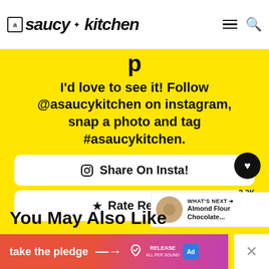a saucy kitchen
I'd love to see it! Follow @asaucykitchen on instagram, snap a photo and tag #asaucykitchen.
Share On Insta!
Rate Recipe
3.2K
WHAT'S NEXT → Almond Flour Chocolate...
You May Also Like
take the pledge →